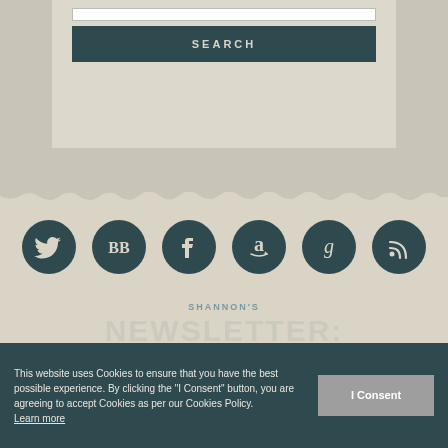[Figure (screenshot): Search box with a SEARCH button on a beige background]
[Figure (infographic): Six dark teal social media icon circles: Twitter, BB (BookBub), Facebook, Amazon, Goodreads, RSS feed]
SHANNON'S NEWSLETTER:
Subscribe »
This website uses Cookies to ensure that you have the best possible experience. By clicking the "I Consent" button, you are agreeing to accept Cookies as per our Cookies Policy. Learn more